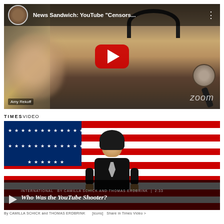[Figure (screenshot): YouTube video thumbnail showing a woman with headphones and microphone, title reads 'News Sandwich: YouTube "Censors..."', with a red YouTube play button overlay and 'zoom' watermark. Name tag 'Amy Rekoff' visible bottom-left.]
[Figure (screenshot): New York Times Video screenshot labeled 'TIMES VIDEO'. Shows a person in black outfit in front of animated American flag background. Bottom bar reads 'INTERNATIONAL By CAMILLA SCHICK and THOMAS ERDBRINK | 2:33' and title 'Who Was the YouTube Shooter?'. Caption below reads 'By CAMILLA SCHICK and THOMAS ERDBRINK'.]